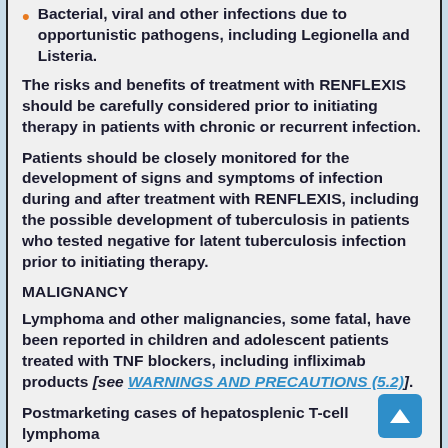Bacterial, viral and other infections due to opportunistic pathogens, including Legionella and Listeria.
The risks and benefits of treatment with RENFLEXIS should be carefully considered prior to initiating therapy in patients with chronic or recurrent infection.
Patients should be closely monitored for the development of signs and symptoms of infection during and after treatment with RENFLEXIS, including the possible development of tuberculosis in patients who tested negative for latent tuberculosis infection prior to initiating therapy.
MALIGNANCY
Lymphoma and other malignancies, some fatal, have been reported in children and adolescent patients treated with TNF blockers, including infliximab products [see WARNINGS AND PRECAUTIONS (5.2)].
Postmarketing cases of hepatosplenic T-cell lymphoma